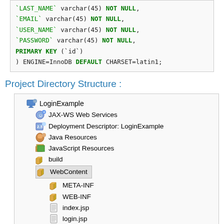`LAST_NAME` varchar(45) NOT NULL,
`EMAIL` varchar(45) NOT NULL,
`USER_NAME` varchar(45) NOT NULL,
`PASSWORD` varchar(45) NOT NULL,
PRIMARY KEY (`id`)
) ENGINE=InnoDB DEFAULT CHARSET=latin1;
Project Directory Structure :
[Figure (screenshot): Eclipse IDE project directory tree showing LoginExample project with folders: JAX-WS Web Services, Deployment Descriptor: LoginExample, Java Resources, JavaScript Resources, build, WebContent (expanded showing META-INF, WEB-INF, index.jsp, login.jsp, logout.jsp)]